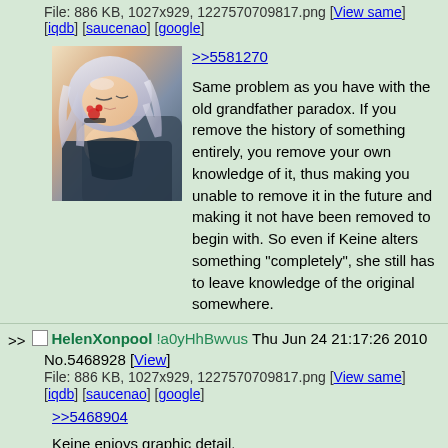File: 886 KB, 1027x929, 1227570709817.png [View same] [iqdb] [saucenao] [google]
[Figure (illustration): Anime-style illustration of a female character with silver/grey hair, resting or sleeping, wearing a dark outfit with red accents/flowers]
>>5581270

Same problem as you have with the old grandfather paradox. If you remove the history of something entirely, you remove your own knowledge of it, thus making you unable to remove it in the future and making it not have been removed to begin with. So even if Keine alters something "completely", she still has to leave knowledge of the original somewhere.
>> HelenXonpool !a0yHhBwvus Thu Jun 24 21:17:26 2010 No.5468928 [View]
File: 886 KB, 1027x929, 1227570709817.png [View same] [iqdb] [saucenao] [google]
>>5468904

Keine enjoys graphic detail.